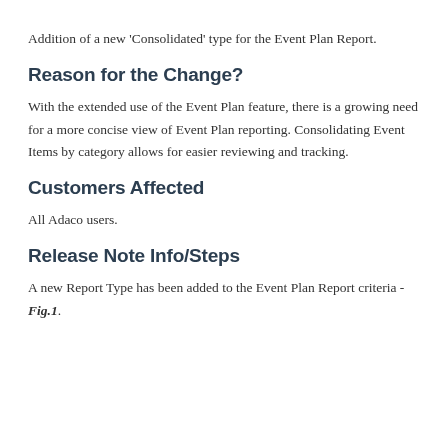Addition of a new 'Consolidated' type for the Event Plan Report.
Reason for the Change?
With the extended use of the Event Plan feature, there is a growing need for a more concise view of Event Plan reporting. Consolidating Event Items by category allows for easier reviewing and tracking.
Customers Affected
All Adaco users.
Release Note Info/Steps
A new Report Type has been added to the Event Plan Report criteria - Fig.1.